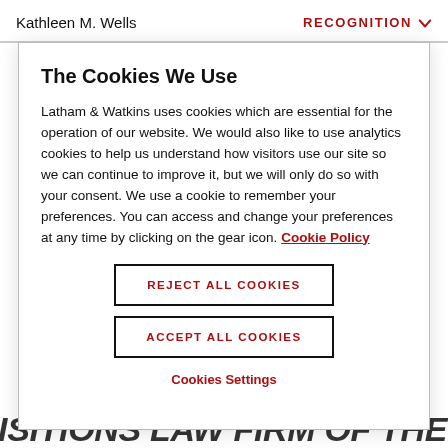Kathleen M. Wells   RECOGNITION
The Cookies We Use
Latham & Watkins uses cookies which are essential for the operation of our website. We would also like to use analytics cookies to help us understand how visitors use our site so we can continue to improve it, but we will only do so with your consent. We use a cookie to remember your preferences. You can access and change your preferences at any time by clicking on the gear icon. Cookie Policy
REJECT ALL COOKIES
ACCEPT ALL COOKIES
Cookies Settings